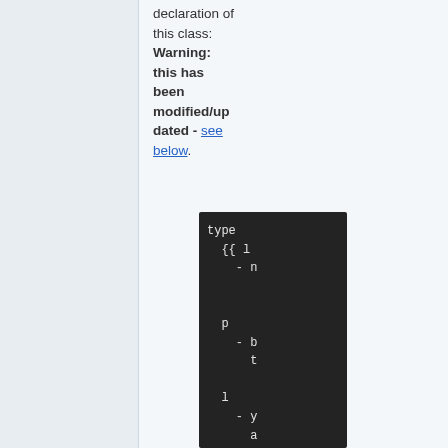declaration of this class: Warning: this has been modified/updated - see below.
[Figure (screenshot): Dark-themed code block showing type declaration with fields including name, b, and y/a entries using YAML-like list syntax]